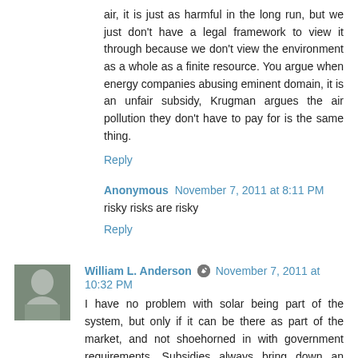air, it is just as harmful in the long run, but we just don't have a legal framework to view it through because we don't view the environment as a whole as a finite resource. You argue when energy companies abusing eminent domain, it is an unfair subsidy, Krugman argues the air pollution they don't have to pay for is the same thing.
Reply
Anonymous  November 7, 2011 at 8:11 PM
risky risks are risky
Reply
William L. Anderson  November 7, 2011 at 10:32 PM
I have no problem with solar being part of the system, but only if it can be there as part of the market, and not shoehorned in with government requirements. Subsidies always bring down an economy, period, as the government has to take from the profitable sectors to prop up the unprofitable...